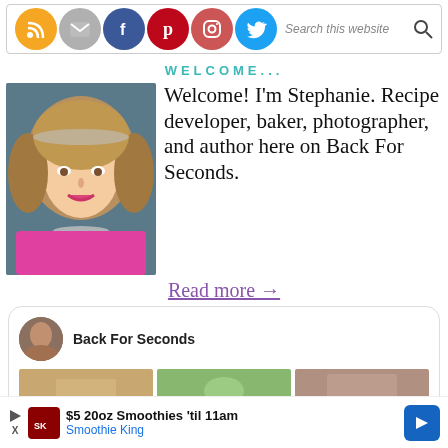[Figure (screenshot): Search bar with social media icons (RSS, email, Facebook, Pinterest, Instagram, Twitter) and a search magnifier icon]
WELCOME...
[Figure (photo): Portrait photo of Stephanie, a woman with curly blonde hair wearing a pink top and silver necklace]
Welcome! I'm Stephanie. Recipe developer, baker, photographer, and author here on Back For Seconds.
Read more →
[Figure (screenshot): Facebook page widget showing Back For Seconds page with profile avatar and thumbnail images]
[Figure (screenshot): Advertisement banner: $5 20oz Smoothies 'til 11am - Smoothie King]